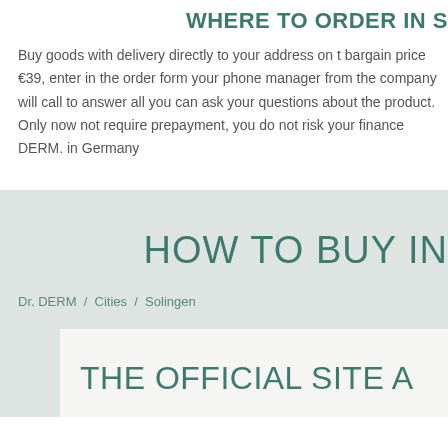WHERE TO ORDER IN S
Buy goods with delivery directly to your address on t bargain price €39, enter in the order form your phone manager from the company will call to answer all you can ask your questions about the product. Only now not require prepayment, you do not risk your finance DERM. in Germany
HOW TO BUY IN
Dr. DERM / Cities / Solingen
THE OFFICIAL SITE A